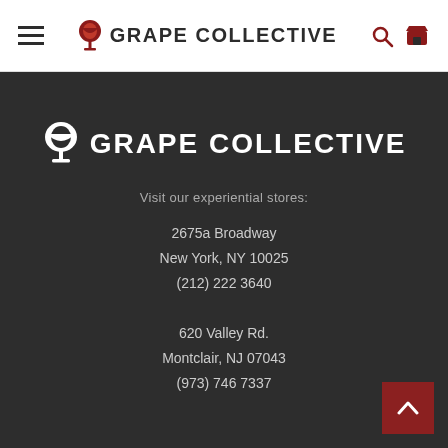GRAPE COLLECTIVE
[Figure (logo): Grape Collective logo with wine glass icon, white text on dark background]
Visit our experiential stores:
2675a Broadway
New York, NY 10025
(212) 222 3640
620 Valley Rd.
Montclair, NJ 07043
(973) 746 7337